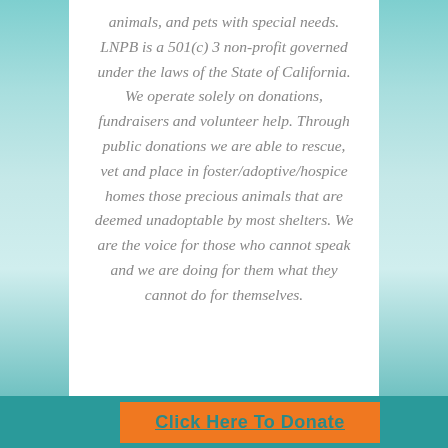animals, and pets with special needs. LNPB is a 501(c) 3 non-profit governed under the laws of the State of California. We operate solely on donations, fundraisers and volunteer help. Through public donations we are able to rescue, vet and place in foster/adoptive/hospice homes those precious animals that are deemed unadoptable by most shelters. We are the voice for those who cannot speak and we are doing for them what they cannot do for themselves.
Click Here To Donate